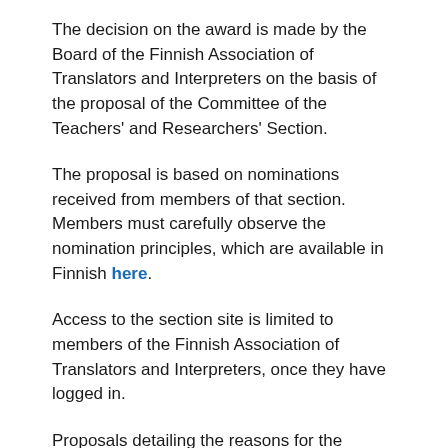The decision on the award is made by the Board of the Finnish Association of Translators and Interpreters on the basis of the proposal of the Committee of the Teachers' and Researchers' Section.
The proposal is based on nominations received from members of that section. Members must carefully observe the nomination principles, which are available in Finnish here.
Access to the section site is limited to members of the Finnish Association of Translators and Interpreters, once they have logged in.
Proposals detailing the reasons for the nomination should be sent to the Section Vice Chair, Minna Ruokonen, minna.ruokonen@uef.fi, no later than 14th February 2020.